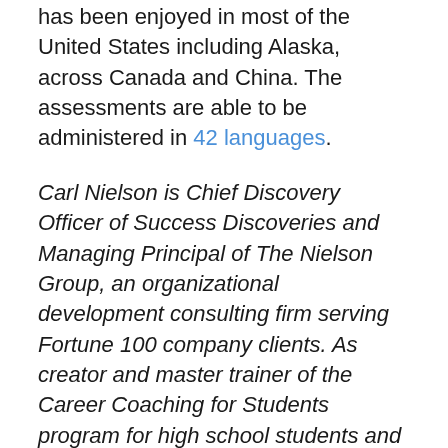has been enjoyed in most of the United States including Alaska, across Canada and China. The assessments are able to be administered in 42 languages.
Carl Nielson is Chief Discovery Officer of Success Discoveries and Managing Principal of The Nielson Group, an organizational development consulting firm serving Fortune 100 company clients. As creator and master trainer of the Career Coaching for Students program for high school students and Career and Success Skills Mastery for College Students and Recent Grads, Carl and his team of licensed facilitators across North America have helped thousands of students find a better way through a career exploration process that works. Self-directed assessment and career exploration coaching packages start at $399. Local public workshops, distance-coaching and in-school programs available. Call for more